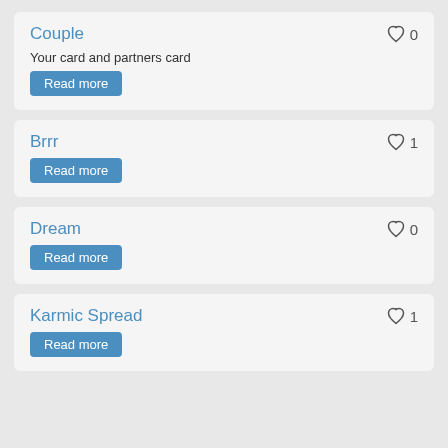Couple
Your card and partners card
Read more
Brrr
Read more
Dream
Read more
Karmic Spread
Read more